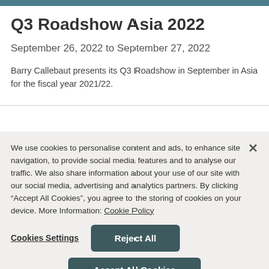Q3 Roadshow Asia 2022
September 26, 2022 to September 27, 2022
Barry Callebaut presents its Q3 Roadshow in September in Asia for the fiscal year 2021/22.
We use cookies to personalise content and ads, to enhance site navigation, to provide social media features and to analyse our traffic. We also share information about your use of our site with our social media, advertising and analytics partners. By clicking “Accept All Cookies”, you agree to the storing of cookies on your device. More Information: Cookie Policy
Cookies Settings | Reject All | Accept All Cookies